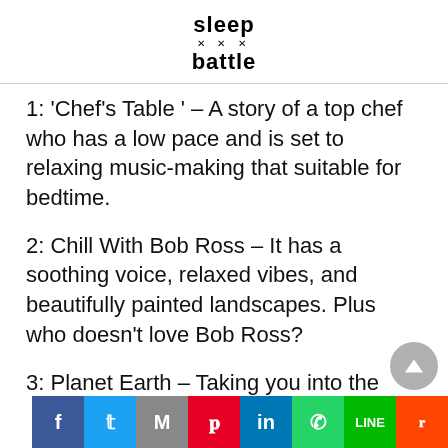sleep battle
1: ‘Chef’s Table ’ – A story of a top chef who has a low pace and is set to relaxing music-making that suitable for bedtime.
2: Chill With Bob Ross – It has a soothing voice, relaxed vibes, and beautifully painted landscapes. Plus who doesn’t love Bob Ross?
3: Planet Earth – Taking you into the different sceneries all over the world including caves, jungles, mountains and the like. The soothing